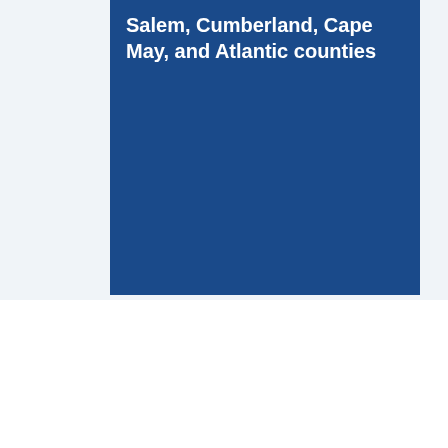Salem, Cumberland, Cape May, and Atlantic counties
nties and Responsibilities of the CrossState Credit Union Ambassador